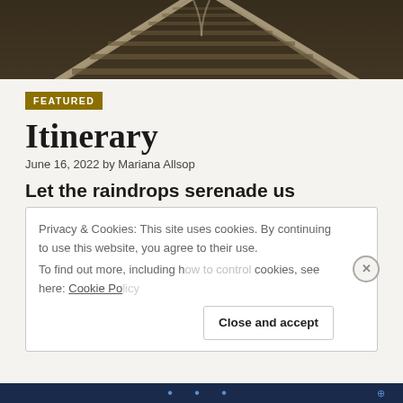[Figure (photo): Sepia-toned photograph of railway tracks converging, viewed from above]
FEATURED
Itinerary
June 16, 2022 by Mariana Allsop
Let the raindrops serenade us
Privacy & Cookies: This site uses cookies. By continuing to use this website, you agree to their use.
To find out more, including how to control cookies, see here: Cookie Po...
Close and accept